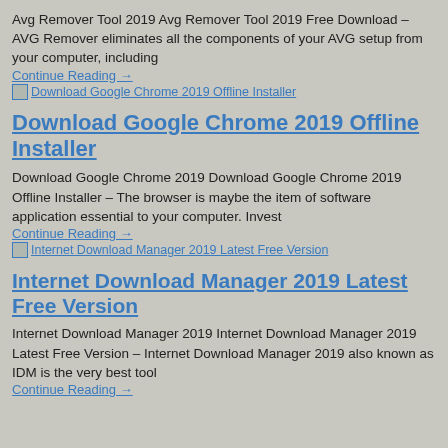Avg Remover Tool 2019 Avg Remover Tool 2019 Free Download – AVG Remover eliminates all the components of your AVG setup from your computer, including
Continue Reading →
[img] Download Google Chrome 2019 Offline Installer
Download Google Chrome 2019 Offline Installer
Download Google Chrome 2019 Download Google Chrome 2019 Offline Installer – The browser is maybe the item of software application essential to your computer. Invest
Continue Reading →
[img] Internet Download Manager 2019 Latest Free Version
Internet Download Manager 2019 Latest Free Version
Internet Download Manager 2019 Internet Download Manager 2019 Latest Free Version – Internet Download Manager 2019 also known as IDM is the very best tool
Continue Reading →